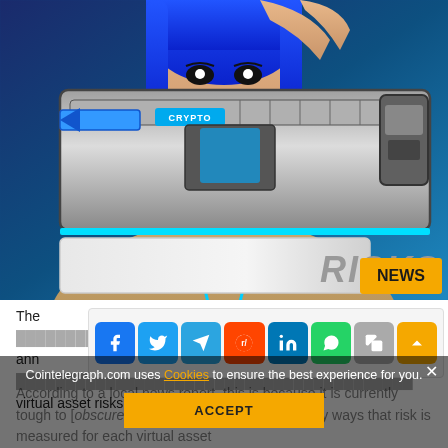[Figure (illustration): Anime/comic-style illustration of a woman with blue hair holding a futuristic gun/weapon device labeled 'CRYPTO'. A white banner overlays the lower portion with the word 'RISKS' in large grey letters. A yellow 'NEWS' badge appears in the bottom-right corner.]
The [article text partially visible] annually [text obscured by share bar] ch virtual asset risks are assessed.
[Figure (screenshot): Social media share bar with icons for Facebook, Twitter, Telegram, Reddit, LinkedIn, WhatsApp, Copy, and scroll-up arrow.]
According to a local news report, this is because it is currently tough to [obscured] due to the many ways that risk is measured for each virtual asset
Cointelegraph.com uses Cookies to ensure the best experience for you.
ACCEPT